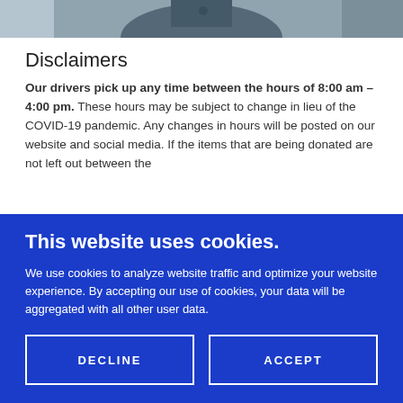[Figure (photo): Partial photo of a person wearing a dark blue shirt or jacket, cropped to show only the neckline/collar area.]
Disclaimers
Our drivers pick up any time between the hours of 8:00 am – 4:00 pm. These hours may be subject to change in lieu of the COVID-19 pandemic. Any changes in hours will be posted on our website and social media. If the items that are being donated are not left out between the
This website uses cookies.
We use cookies to analyze website traffic and optimize your website experience. By accepting our use of cookies, your data will be aggregated with all other user data.
DECLINE
ACCEPT